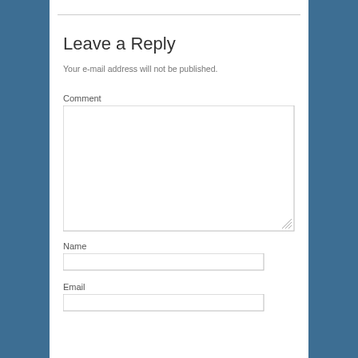Leave a Reply
Your e-mail address will not be published.
Comment
Name
Email